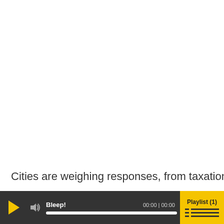[Figure (screenshot): White blank area occupying upper portion of page, likely a video player or media embed area with no content visible]
Cities are weighing responses, from taxation and
[Figure (screenshot): Audio player bar with dark background. Contains: play button (yellow triangle), volume icon, title 'Bleep!', time display '00:00 | 00:00', progress bar, and yellow 'Playlist (1)' button with list icon on right.]